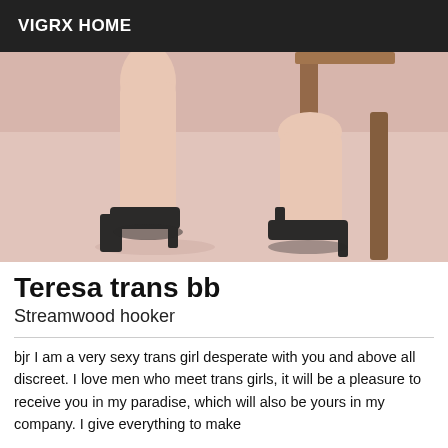VIGRX HOME
[Figure (photo): Photo of legs wearing black high-heeled shoes, with a wooden chair visible, against a pinkish-beige background.]
Teresa trans bb
Streamwood hooker
bjr I am a very sexy trans girl desperate with you and above all discreet. I love men who meet trans girls, it will be a pleasure to receive you in my paradise, which will also be yours in my company. I give everything to make